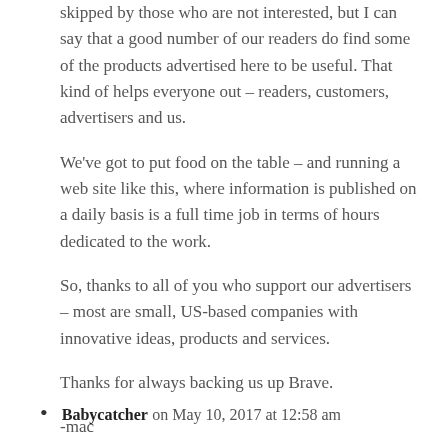skipped by those who are not interested, but I can say that a good number of our readers do find some of the products advertised here to be useful. That kind of helps everyone out – readers, customers, advertisers and us.
We've got to put food on the table – and running a web site like this, where information is published on a daily basis is a full time job in terms of hours dedicated to the work.
So, thanks to all of you who support our advertisers – most are small, US-based companies with innovative ideas, products and services.
Thanks for always backing us up Brave.
-mac
Babycatcher on May 10, 2017 at 12:58 am